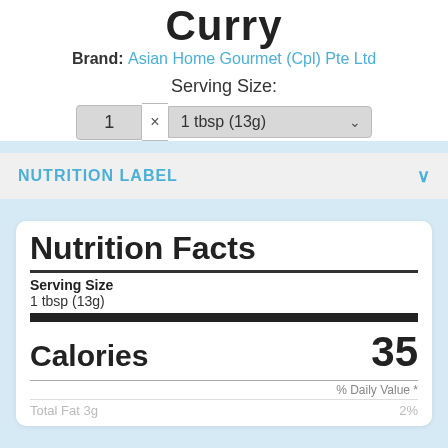Curry
Brand: Asian Home Gourmet (Cpl) Pte Ltd
Serving Size:
1 × 1 tbsp (13g)
NUTRITION LABEL
| Nutrition Facts |  |
| Serving Size |  |
| 1 tbsp (13g) |  |
| Calories | 35 |
| % Daily Value * |  |
| Total Fat 3g | 2% |